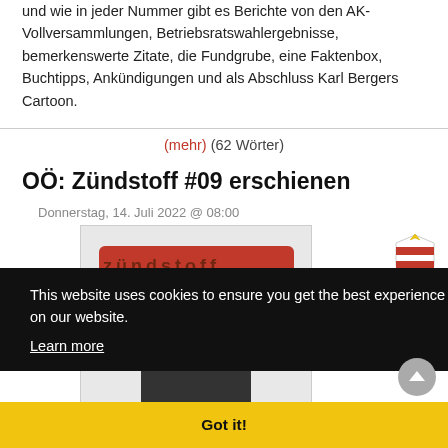und wie in jeder Nummer gibt es Berichte von den AK-Vollversammlungen, Betriebsratswahlergebnisse, bemerkenswerte Zitate, die Fundgrube, eine Faktenbox, Buchtipps, Ankündigungen und als Abschluss Karl Bergers Cartoon.
(mehr) (62 Wörter)
OÖ: Zündstoff #09 erschienen
Donnerstag, 14. Juli 2022 @ 08:00
[Figure (photo): Cover image of Zündstoff magazine #09, showing a red rounded rectangle with stylized text 'Zündstoff' and a dark rectangle below it, on a light grey background with a thin border.]
[Figure (logo): Shield/coat of arms icon in the top-right area, striped red-white-red with a crown on top.]
This website uses cookies to ensure you get the best experience on our website. Learn more
Got it!